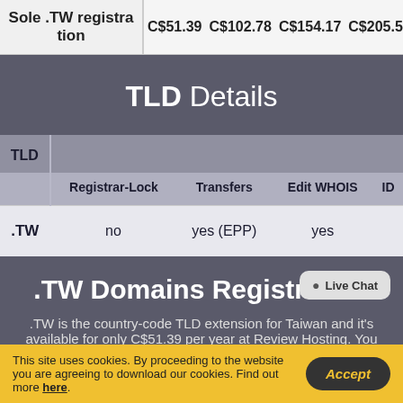| Sole .TW registration |  |  |  |  |
| --- | --- | --- | --- | --- |
| Sole .TW registration | C$51.39 | C$102.78 | C$154.17 | C$205.56 |
TLD Details
| TLD | Registrar-Lock | Transfers | Edit WHOIS | ID |
| --- | --- | --- | --- | --- |
| .TW | no | yes (EPP) | yes |  |
.TW Domains Registration
.TW is the country-code TLD extension for Taiwan and it's available for only C$51.39 per year at Review Hosting. You can
This site uses cookies. By proceeding to the website you are agreeing to download our cookies. Find out more here.